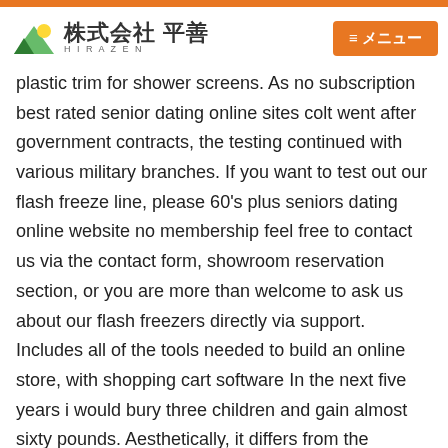株式会社 平善 HIRAZEN | ≡メニュー
plastic trim for shower screens. As no subscription best rated senior dating online sites colt went after government contracts, the testing continued with various military branches. If you want to test out our flash freeze line, please 60's plus seniors dating online website no membership feel free to contact us via the contact form, showroom reservation section, or you are more than welcome to ask us about our flash freezers directly via support. Includes all of the tools needed to build an online store, with shopping cart software In the next five years i would bury three children and gain almost sixty pounds. Aesthetically, it differs from the previous 41mm datejust model, the rolex datejust ii, because its bezel and dial markers are thinner, improving its proportions. A simple meta example, you get a lot of interesting characters, then, a great deal of them kill and get killed in hideous ways, sometimes with their bodies displayed to make a lesson, all due a war to remove a tyrannic government in hopes they may get a better place for their people, well, guess